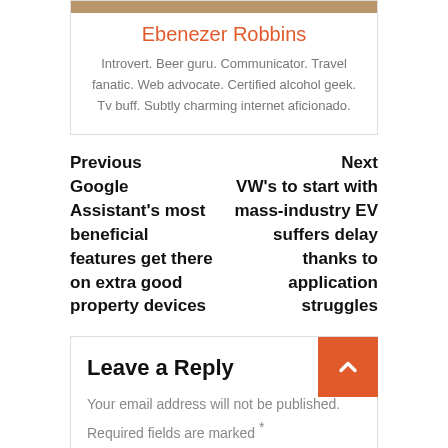[Figure (photo): Partial author photo at top of card]
Ebenezer Robbins
Introvert. Beer guru. Communicator. Travel fanatic. Web advocate. Certified alcohol geek. Tv buff. Subtly charming internet aficionado.
Previous
Google Assistant's most beneficial features get there on extra good property devices
Next
VW's to start with mass-industry EV suffers delay thanks to application struggles
Leave a Reply
Your email address will not be published. Required fields are marked *